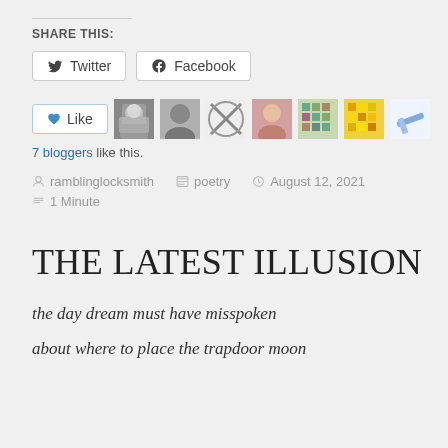Share this:
[Figure (other): Twitter and Facebook share buttons]
[Figure (other): Like button with 7 blogger avatars]
7 bloggers like this.
ramblinglocksmith   poetry   August 12, 2021
1 Minute
THE LATEST ILLUSION
the day dream must have misspoken
about where to place the trapdoor moon